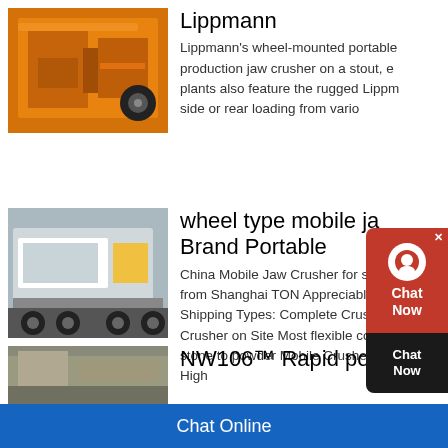[Figure (photo): Orange industrial jaw crusher machine on factory floor]
Lippmann
Lippmann's wheel-mounted portable production jaw crusher on a stout, e... plants also feature the rugged Lipp... side or rear loading from vario...
[Figure (photo): White and yellow tracked mobile jaw crusher on outdoor terrain]
wheel type mobile ja... Brand Portable
China Mobile Jaw Crusher for sale y... from Shanghai TON Appreciable Dis... Shipping Types: Complete Crushing... Crusher on Site Most flexible config... stone to powder Mobile Crushers &... High
[Figure (photo): Partial view of rock quarry or aggregate site]
NW106™ Rapid portabl...
Chat Online